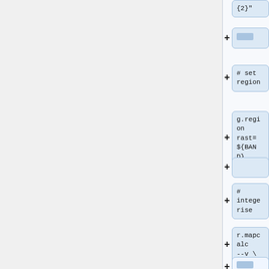[Figure (flowchart): Vertical flowchart showing script/code blocks connected with plus signs. Blocks contain code snippets: '{2}"', empty block, '# set region', 'g.region rast=${BAND}', empty block, '# integerise', 'r.mapcalc --v \', '"${BAND}_integerised = round( 1000000 * ${BAND} )"']